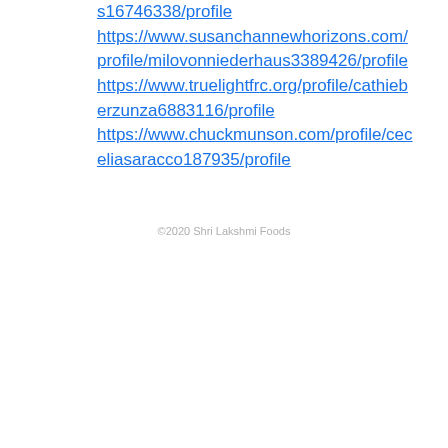s16746338/profile https://www.susanchannewhorizons.com/profile/milovonniederhaus3389426/profile https://www.truelightfrc.org/profile/cathieberzunza6883116/profile https://www.chuckmunson.com/profile/ceceliasaracco187935/profile
©2020 Shri Lakshmi Foods